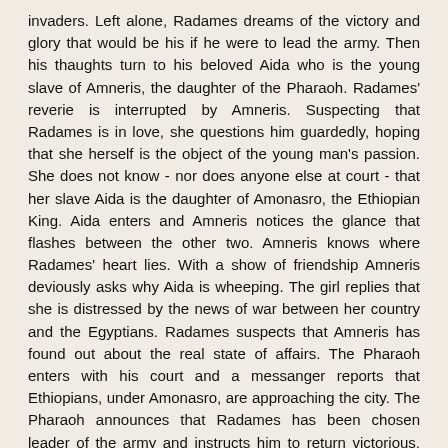invaders. Left alone, Radames dreams of the victory and glory that would be his if he were to lead the army. Then his thaughts turn to his beloved Aida who is the young slave of Amneris, the daughter of the Pharaoh. Radames' reverie is interrupted by Amneris. Suspecting that Radames is in love, she questions him guardedly, hoping that she herself is the object of the young man's passion. She does not know - nor does anyone else at court - that her slave Aida is the daughter of Amonasro, the Ethiopian King. Aida enters and Amneris notices the glance that flashes between the other two. Amneris knows where Radames' heart lies. With a show of friendship Amneris deviously asks why Aida is wheeping. The girl replies that she is distressed by the news of war between her country and the Egyptians. Radames suspects that Amneris has found out about the real state of affairs. The Pharaoh enters with his court and a messanger reports that Ethiopians, under Amonasro, are approaching the city. The Pharaoh announces that Radames has been chosen leader of the army and instructs him to return victorious. Aida expresses her dismay stemming frim her divided feelings of love for Radames and anxiety for her father. She calls on the gods to have pity for her suffering.
Scene two
At the Temple Radames is blessed as the leader of the army and given the consecrated sword and armour. The ceremony en[ds wit]h an invocation to mighty Phtha.